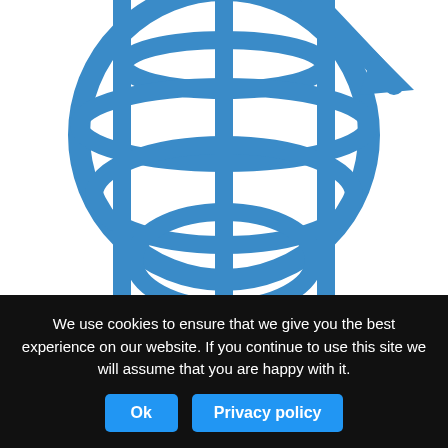[Figure (illustration): Blue globe/world icon, partially cropped at top, thick stroke outline style]
[Figure (illustration): Row of five social media circular icons: email (tan/gold), Facebook (dark blue), Twitter (light blue), YouTube (red), FGS (orange-red)]
[Figure (illustration): Blue outline icon of a plant/flower with sparkle stars, partially cropped, partially visible at bottom]
We use cookies to ensure that we give you the best experience on our website. If you continue to use this site we will assume that you are happy with it.
Ok    Privacy policy